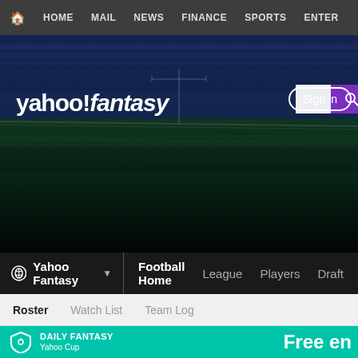HOME  MAIL  NEWS  FINANCE  SPORTS  ENTER
[Figure (screenshot): Yahoo Fantasy Football website hero banner showing a football stadium with field at night, with the Yahoo! Fantasy logo, search bar, and Sign in button]
yahoo!fantasy
Sign in
Yahoo Fantasy ▾  Football Home  League  Players  Draft
Roster  Watch List  Team Log
DAILY FANTASY
Yahoo Cup
Free en
eric's Team ▾
--hidden-- Since '15
Rating: 5